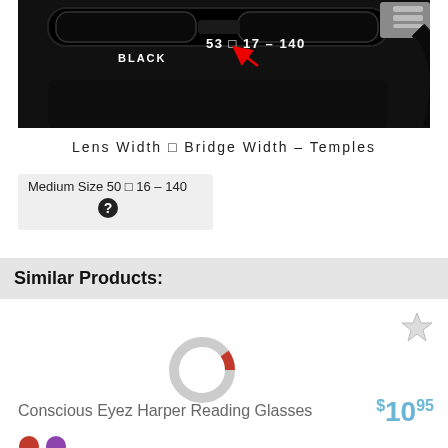[Figure (photo): Close-up photo of black eyeglass frames with size markings 'BLACK 53 □ 17 – 140' visible on the bridge area, with a red arrow pointing to the markings. Below the photo: 'Lens Width □ Bridge Width – Temples']
Medium Size 50 □ 16 – 140
Similar Products:
[Figure (donut-chart): Small donut/loading spinner icon showing partial circle, mostly gray with small red segment]
Conscious Eyez Harper Reading Glasses
$1095